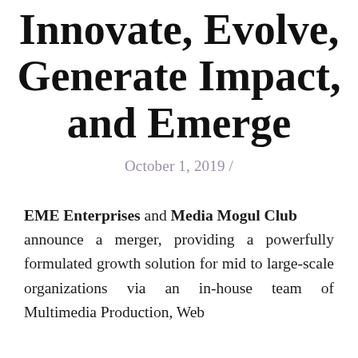Innovate, Evolve, Generate Impact, and Emerge
October 1, 2019 /
EME Enterprises and Media Mogul Club announce a merger, providing a powerfully formulated growth solution for mid to large-scale organizations via an in-house team of Multimedia Production, Web